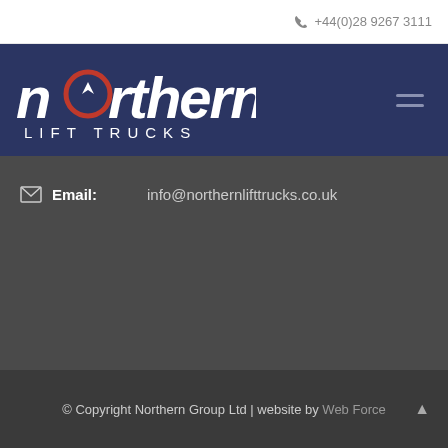+44(0)28 9267 3111
[Figure (logo): Northern Lift Trucks logo - white text on dark navy background with red circle accent on the letter 'o']
Email: info@northernlifttrucks.co.uk
© Copyright Northern Group Ltd | website by Web Force